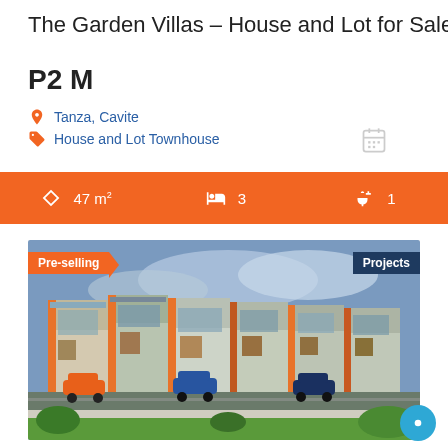The Garden Villas – House and Lot for Sale i…
P2 M
Tanza, Cavite
House and Lot Townhouse
47 m²  |  3 bedrooms  |  1 bathroom
[Figure (photo): Exterior render of The Garden Villas townhouse development with orange and grey facade, multiple units, cars parked in front, green lawn in foreground. Pre-selling badge on left, Projects badge on right.]